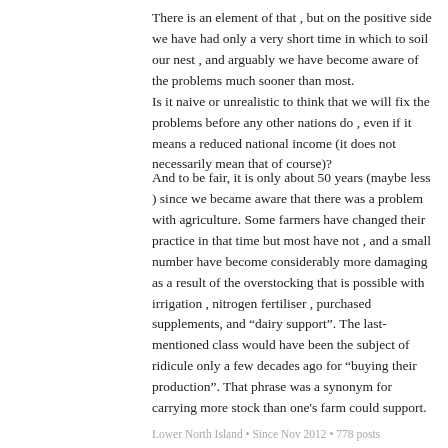There is an element of that , but on the positive side we have had only a very short time in which to soil our nest , and arguably we have become aware of the problems much sooner than most.
Is it naive or unrealistic to think that we will fix the problems before any other nations do , even if it means a reduced national income (it does not necessarily mean that of course)?
And to be fair, it is only about 50 years (maybe less ) since we became aware that there was a problem with agriculture. Some farmers have changed their practice in that time but most have not , and a small number have become considerably more damaging as a result of the overstocking that is possible with irrigation , nitrogen fertiliser , purchased supplements, and “dairy support”. The last-mentioned class would have been the subject of ridicule only a few decades ago for “buying their production”. That phrase was a synonym for carrying more stock than one's farm could support.
Lower North Island • Since Nov 2012 • 778 posts